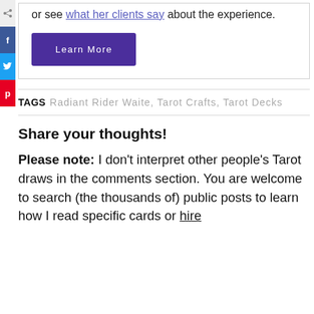or see what her clients say about the experience.
Learn More
TAGS  Radiant Rider Waite, Tarot Crafts, Tarot Decks
Share your thoughts!
Please note: I don't interpret other people's Tarot draws in the comments section. You are welcome to search (the thousands of) public posts to learn how I read specific cards or hire